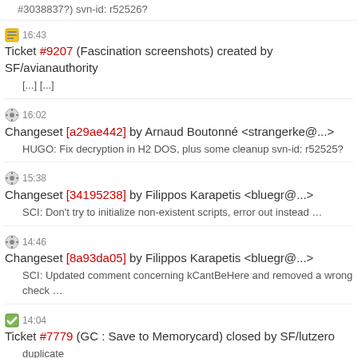#3038837?) svn-id: r52526?
16:43 Ticket #9207 (Fascination screenshots) created by SF/avianauthority
[...] [...]
16:02 Changeset [a29ae442] by Arnaud Boutonné <strangerke@...>
HUGO: Fix decryption in H2 DOS, plus some cleanup svn-id: r52525?
15:38 Changeset [34195238] by Filippos Karapetis <bluegr@...>
SCI: Don't try to initialize non-existent scripts, error out instead ...
14:46 Changeset [8a93da05] by Filippos Karapetis <bluegr@...>
SCI: Updated comment concerning kCantBeHere and removed a wrong check ...
14:04 Ticket #7779 (GC : Save to Memorycard) closed by SF/lutzero
duplicate